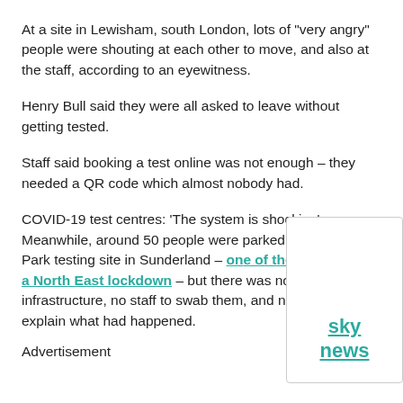At a site in Lewisham, south London, lots of "very angry" people were shouting at each other to move, and also at the staff, according to an eyewitness.
Henry Bull said they were all asked to leave without getting tested.
Staff said booking a test online was not enough – they needed a QR code which almost nobody had.
COVID-19 test centres: 'The system is shocking' Meanwhile, around 50 people were parked up at Doxford Park testing site in Sunderland – one of the areas put in a North East lockdown – but there was no tent or other infrastructure, no staff to swab them, and no officials to explain what had happened.
[Figure (logo): Sky News logo overlay box in bottom right corner]
Advertisement